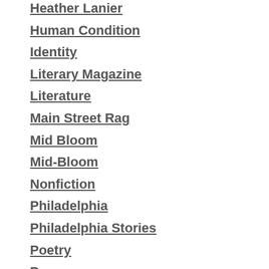Heather Lanier
Human Condition
Identity
Literary Magazine
Literature
Main Street Rag
Mid Bloom
Mid-Bloom
Nonfiction
Philadelphia
Philadelphia Stories
Poetry
Prague
Publishing
Quote
Reading
Reblog
River And South Review
Rowan University